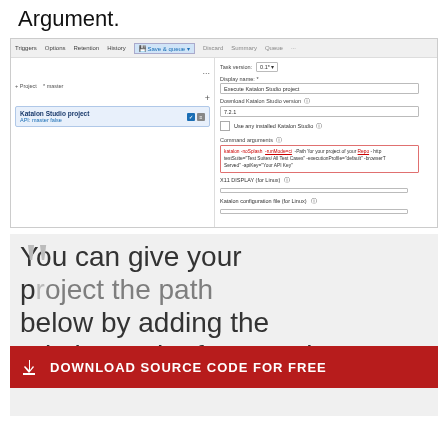Argument.
[Figure (screenshot): Azure DevOps pipeline task configuration screenshot showing Katalon Studio project task setup with fields: Task version, Display name (Execute Katalon Studio project), Download Katalon Studio version (7.2.1), Use any installed Katalon Studio checkbox, Command arguments field with red command text, X11 DISPLAY (for Linux), Katalon configuration file (for Linux)]
You can give your project the path below by adding the relative path of your .prj
[Figure (infographic): Download source code for free banner in red with download icon]